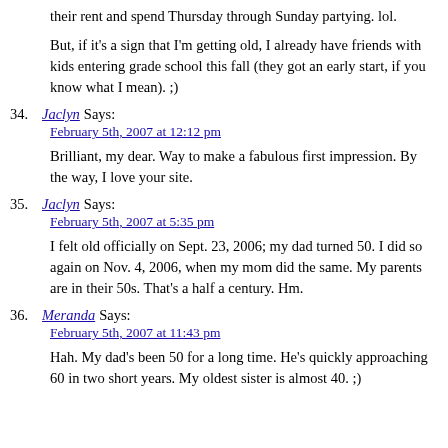their rent and spend Thursday through Sunday partying. lol.
But, if it's a sign that I'm getting old, I already have friends with kids entering grade school this fall (they got an early start, if you know what I mean). ;)
34. Jaclyn Says:
February 5th, 2007 at 12:12 pm

Brilliant, my dear. Way to make a fabulous first impression. By the way, I love your site.
35. Jaclyn Says:
February 5th, 2007 at 5:35 pm

I felt old officially on Sept. 23, 2006; my dad turned 50. I did so again on Nov. 4, 2006, when my mom did the same. My parents are in their 50s. That's a half a century. Hm.
36. Meranda Says:
February 5th, 2007 at 11:43 pm

Hah. My dad's been 50 for a long time. He's quickly approaching 60 in two short years. My oldest sister is almost 40. ;)